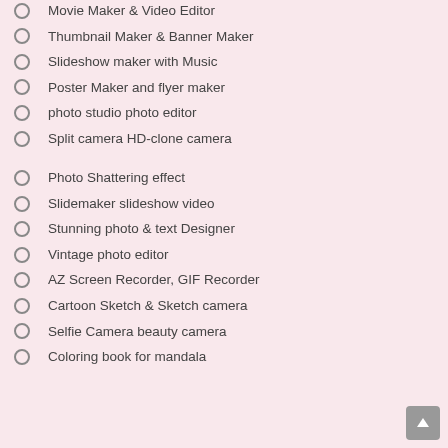Movie Maker & Video Editor
Thumbnail Maker & Banner Maker
Slideshow maker with Music
Poster Maker and flyer maker
photo studio photo editor
Split camera HD-clone camera
Photo Shattering effect
Slidemaker slideshow video
Stunning photo & text Designer
Vintage photo editor
AZ Screen Recorder, GIF Recorder
Cartoon Sketch & Sketch camera
Selfie Camera beauty camera
Coloring book for mandala